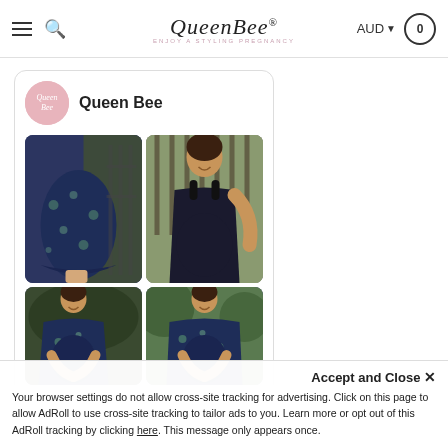Queen Bee — ENJOY A STYLING PREGNANCY — AUD — Cart 0
Queen Bee
[Figure (photo): Four product photos in a 2x2 grid showing maternity clothing from Queen Bee brand. Top-left: floral navy skirt close-up on a woman. Top-right: woman in black maternity tank top standing outdoors. Bottom-left: woman in navy floral maternity dress holding bump. Bottom-right: woman in navy floral maternity dress holding bump, outdoor setting.]
Accept and Close ✕
Your browser settings do not allow cross-site tracking for advertising. Click on this page to allow AdRoll to use cross-site tracking to tailor ads to you. Learn more or opt out of this AdRoll tracking by clicking here. This message only appears once.